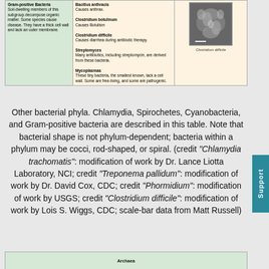| Category | Examples | Image |
| --- | --- | --- |
| Gram-positive Bacteria
Soil-dwelling members of this subgroup decompose organic matter. Some species cause disease. They have a thick cell wall and lack an outer membrane. | Bacillus anthracis
Causes anthrax.

Clostridium botulinum
Causes Botulism

Clostridium difficile
Causes diarrhea during antibiotic therapy.

Streptomyces
Many antibiotics, including streptomycin, are derived from these bacteria.

Mycoplasmas
These tiny bacteria, the smallest known, lack a cell wall. Some are free-living, and some are pathogenic. | [microscope image of Clostridium difficile] |
Other bacterial phyla. Chlamydia, Spirochetes, Cyanobacteria, and Gram-positive bacteria are described in this table. Note that bacterial shape is not phylum-dependent; bacteria within a phylum may be cocci, rod-shaped, or spiral. (credit “Chlamydia trachomatis”: modification of work by Dr. Lance Liotta Laboratory, NCI; credit “Treponema pallidum”: modification of work by Dr. David Cox, CDC; credit “Phormidium”: modification of work by USGS; credit “Clostridium difficile”: modification of work by Lois S. Wiggs, CDC; scale-bar data from Matt Russell)
| Archaea |
| --- |